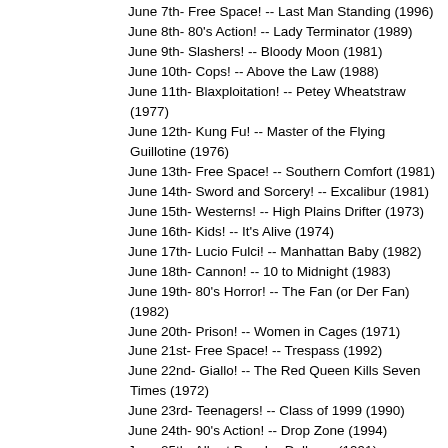June 7th- Free Space! -- Last Man Standing (1996)
June 8th- 80's Action! -- Lady Terminator (1989)
June 9th- Slashers! -- Bloody Moon (1981)
June 10th- Cops! -- Above the Law (1988)
June 11th- Blaxploitation! -- Petey Wheatstraw (1977)
June 12th- Kung Fu! -- Master of the Flying Guillotine (1976)
June 13th- Free Space! -- Southern Comfort (1981)
June 14th- Sword and Sorcery! -- Excalibur (1981)
June 15th- Westerns! -- High Plains Drifter (1973)
June 16th- Kids! -- It's Alive (1974)
June 17th- Lucio Fulci! -- Manhattan Baby (1982)
June 18th- Cannon! -- 10 to Midnight (1983)
June 19th- 80's Horror! -- The Fan (or Der Fan)(1982)
June 20th- Prison! -- Women in Cages (1971)
June 21st- Free Space! -- Trespass (1992)
June 22nd- Giallo! -- The Red Queen Kills Seven Times (1972)
June 23rd- Teenagers! -- Class of 1999 (1990)
June 24th- 90's Action! -- Drop Zone (1994)
June 25th- Albert Pyun! -- Dollman (1991)
June 26th- Zombies! -- Night of the Zombies (1980)